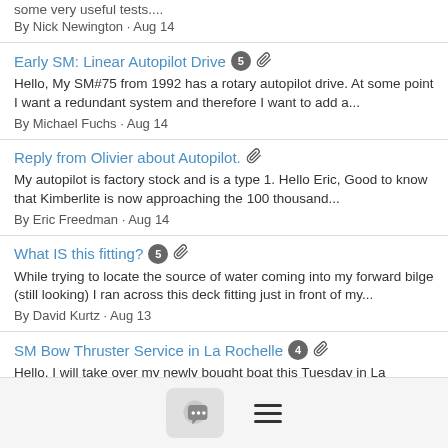some very useful tests....
By Nick Newington · Aug 14
Early SM: Linear Autopilot Drive [5] [attachment]
Hello, My SM#75 from 1992 has a rotary autopilot drive. At some point I want a redundant system and therefore I want to add a...
By Michael Fuchs · Aug 14
Reply from Olivier about Autopilot. [attachment]
My autopilot is factory stock and is a type 1. Hello Eric, Good to know that Kimberlite is now approaching the 100 thousand...
By Eric Freedman · Aug 14
What IS this fitting? [5] [attachment]
While trying to locate the source of water coming into my forward bilge (still looking) I ran across this deck fitting just in front of my...
By David Kurtz · Aug 13
SM Bow Thruster Service in La Rochelle [4] [attachment]
Hello, I will take over my newly bought boat this Tuesday in La
[Figure (screenshot): Bottom navigation bar with a chat bubble icon button and a hamburger menu icon]